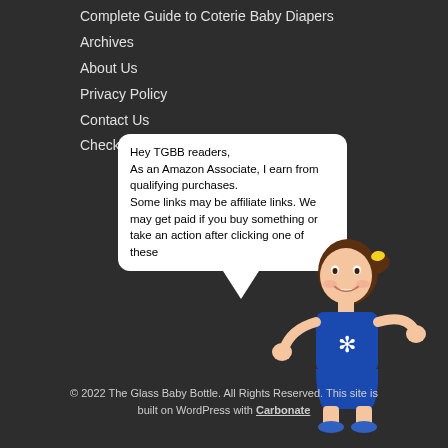Complete Guide to Coterie Baby Diapers
Archives
About Us
Privacy Policy
Contact Us
Check Out our Sister Site SafeMama.com
[Figure (illustration): Speech bubble with text and cartoon girl character. Speech bubble text: Hey TGBB readers, As an Amazon Associate, I earn from qualifying purchases. Some links may be affiliate links. We may get paid if you buy something or take an action after clicking one of these]
© 2022 The Glass Baby Bottle. All Rights Reserved. This site is built on WordPress with Carbonate